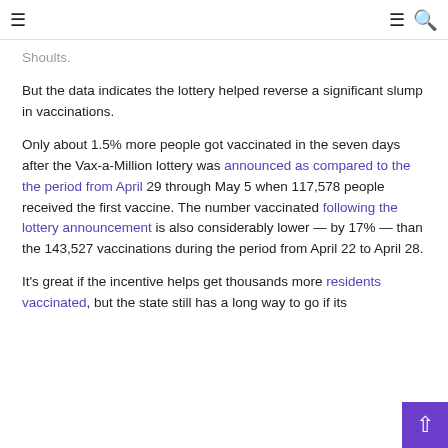≡  ≡ 🔍
Shoults.
But the data indicates the lottery helped reverse a significant slump in vaccinations.
Only about 1.5% more people got vaccinated in the seven days after the Vax-a-Million lottery was announced as compared to the the period from April 29 through May 5 when 117,578 people received the first vaccine. The number vaccinated following the lottery announcement is also considerably lower — by 17% — than the 143,527 vaccinations during the period from April 22 to April 28.
It's great if the incentive helps get thousands more residents vaccinated, but the state still has a long way to go if its